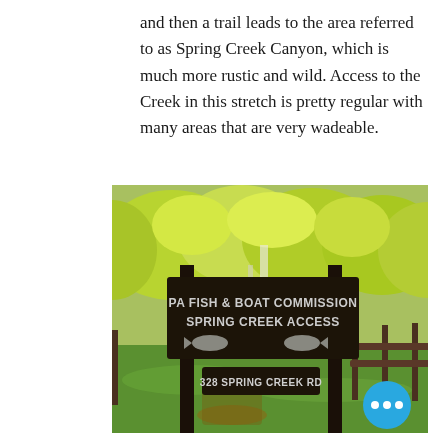and then a trail leads to the area referred to as Spring Creek Canyon, which is much more rustic and wild. Access to the Creek in this stretch is pretty regular with many areas that are very wadeable.
[Figure (photo): Photograph of a PA Fish & Boat Commission Spring Creek Access sign at 328 Spring Creek Rd, with green trees and lawn in background. A blue chat button with three dots appears in the lower right corner of the image.]